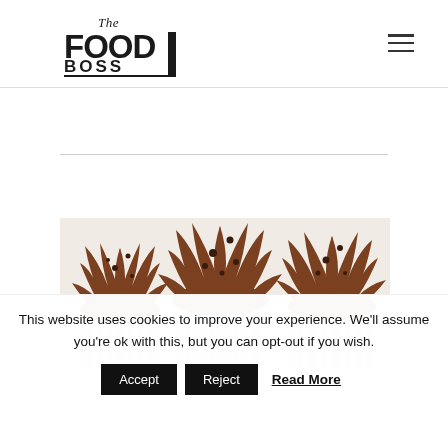[Figure (logo): The Food Boss logo — stylized bold text 'FOOD BOSS' with 'The' in script above and a horizontal rule below]
[Figure (photo): Photograph of chocolate cupcakes with chocolate frosting swirls and dark crumb topping, on a white background]
This website uses cookies to improve your experience. We'll assume you're ok with this, but you can opt-out if you wish.
Accept  Reject  Read More